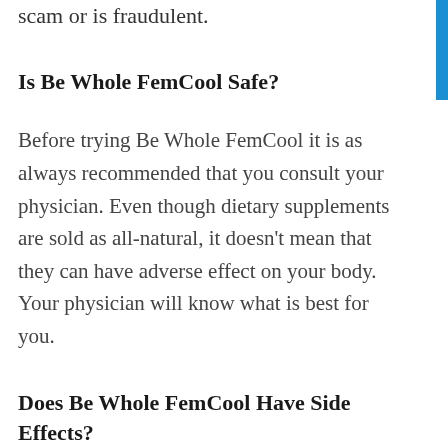Be Whole FemCool is in any way a scam or is fraudulent.
Is Be Whole FemCool Safe?
Before trying Be Whole FemCool it is as always recommended that you consult your physician. Even though dietary supplements are sold as all-natural, it doesn’t mean that they can have adverse effect on your body. Your physician will know what is best for you.
Does Be Whole FemCool Have Side Effects?